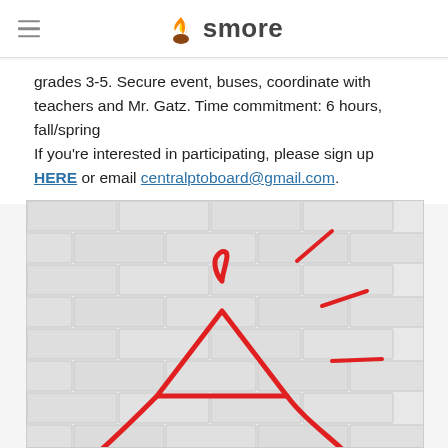smore
grades 3-5. Secure event, buses, coordinate with teachers and Mr. Gatz. Time commitment: 6 hours, fall/spring
If you're interested in participating, please sign up HERE or email centralptoboard@gmail.com.
[Figure (illustration): White brick wall background with red hand-drawn marks resembling a megaphone or announcement symbol with radiating lines, suggesting an alert or call to action.]